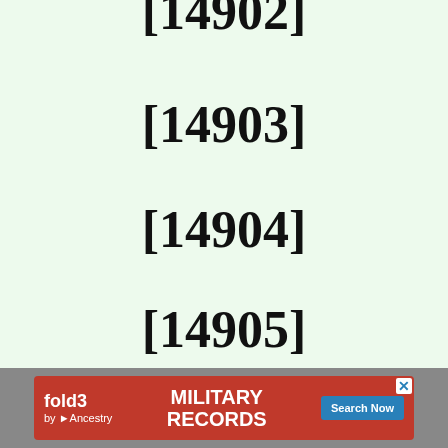[14902]
[14903]
[14904]
[14905]
[14906]
[14909]